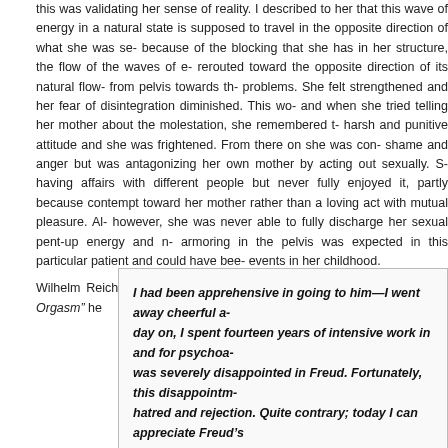this was validating her sense of reality. I described to her that this wave of energy in a natural state is supposed to travel in the opposite direction of what she was seeing because of the blocking that she has in her structure, the flow of the waves of energy rerouted toward the opposite direction of its natural flow- from pelvis towards the problems. She felt strengthened and her fear of disintegration diminished. This wave and when she tried telling her mother about the molestation, she remembered the harsh and punitive attitude and she was frightened. From there on she was containing shame and anger but was antagonizing her own mother by acting out sexually. She was having affairs with different people but never fully enjoyed it, partly because it was contempt toward her mother rather than a loving act with mutual pleasure. Although however, she was never able to fully discharge her sexual pent-up energy and more armoring in the pelvis was expected in this particular patient and could have been events in her childhood.
Wilhelm Reich was a student of Freud and in the book of “Function of Orgasm” he
I had been apprehensive in going to him—I went away cheerful a day on, I spent fourteen years of intensive work in and for psychoa was severely disappointed in Freud. Fortunately, this disappointm hatred and rejection. Quite contrary; today I can appreciate Freud’s better and deeper way than I could in those days of youthful enthu have been his student for such a long time, without having criticizi and with complete devotion to his cause. (2)